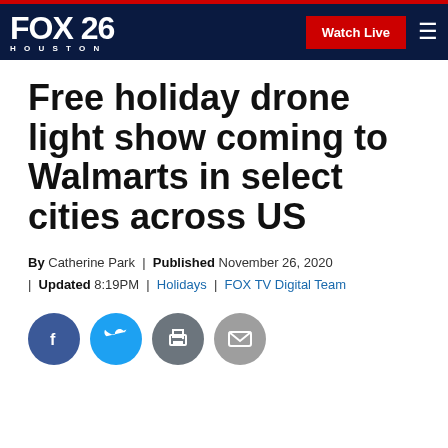FOX 26 HOUSTON | Watch Live
Free holiday drone light show coming to Walmarts in select cities across US
By Catherine Park | Published November 26, 2020 | Updated 8:19PM | Holidays | FOX TV Digital Team
[Figure (other): Social media sharing icons: Facebook, Twitter, Print, Email]